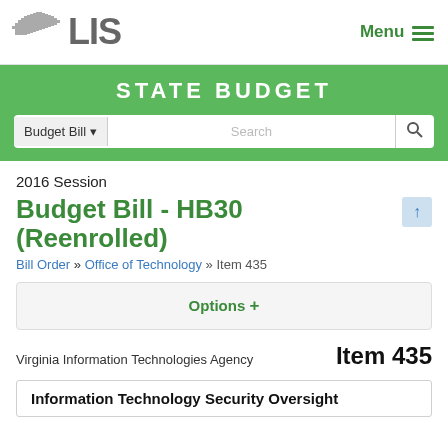LIS | Menu
STATE BUDGET
Budget Bill ▾  Search
2016 Session
Budget Bill - HB30 (Reenrolled)
Bill Order » Office of Technology » Item 435
Options +
Virginia Information Technologies Agency   Item 435
Information Technology Security Oversight